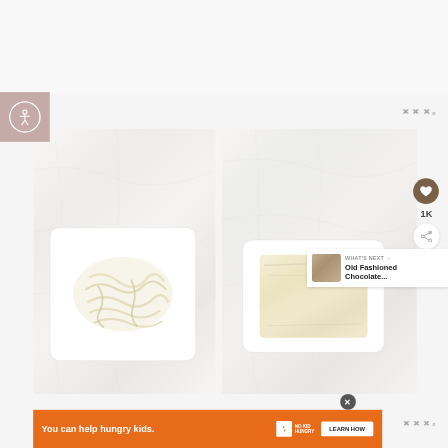[Figure (photo): Accessibility button icon (person in circle) on pinkish-brown background square, top-left area]
[Figure (logo): WW° logo in gray, top-right area]
[Figure (photo): Left photo: top-down view of white plastic container with tangled noodles/dough on marble surface]
[Figure (photo): Right photo: top-down view of white plastic container with smooth dough block on marble surface]
[Figure (infographic): Heart/like button (brown circle with heart icon), count 1K, and share button overlaid on right side]
[Figure (infographic): WHAT'S NEXT panel with thumbnail and text 'Old Fashioned Chocolate...']
[Figure (infographic): Orange advertisement banner: 'You can help hungry kids.' with No Kid Hungry logo and LEARN HOW button, with X close button]
[Figure (logo): WW° logo in gray, bottom-right area]